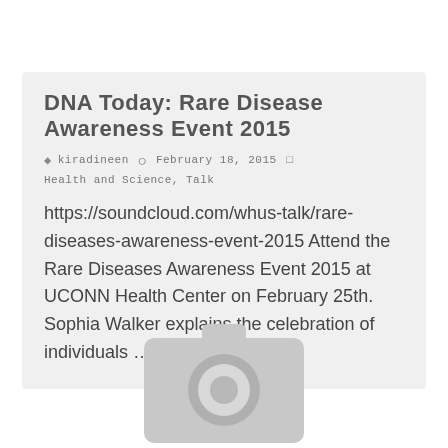DNA Today: Rare Disease Awareness Event 2015
kiradineen   February 18, 2015   Health and Science, Talk
https://soundcloud.com/whus-talk/rare-diseases-awareness-event-2015 Attend the Rare Diseases Awareness Event 2015 at UCONN Health Center on February 25th. Sophia Walker explains the celebration of individuals …
[Figure (other): Camera placeholder icon in light gray]